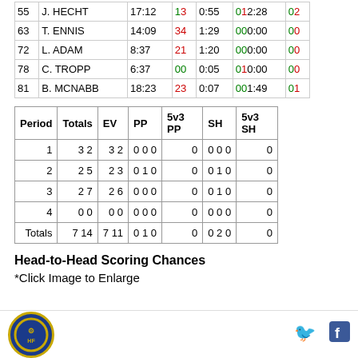| # | Name | TOI | G | A | PIM TOI | G | A | PIM TOI | G | A |
| --- | --- | --- | --- | --- | --- | --- | --- | --- | --- | --- |
| 55 | J. HECHT | 17:12 | 1 | 3 | 0:55 | 0 | 1 | 2:28 | 0 | 2 |
| 63 | T. ENNIS | 14:09 | 3 | 4 | 1:29 | 0 | 0 | 0:00 | 0 | 0 |
| 72 | L. ADAM | 8:37 | 2 | 1 | 1:20 | 0 | 0 | 0:00 | 0 | 0 |
| 78 | C. TROPP | 6:37 | 0 | 0 | 0:05 | 0 | 1 | 0:00 | 0 | 0 |
| 81 | B. MCNABB | 18:23 | 2 | 3 | 0:07 | 0 | 0 | 1:49 | 0 | 1 |
| Period | Totals | EV | PP | 5v3 PP | SH | 5v3 SH |
| --- | --- | --- | --- | --- | --- | --- |
| 1 | 3 2 | 3 2 | 0 0 0 | 0 | 0 0 0 | 0 |
| 2 | 2 5 | 2 3 | 0 1 0 | 0 | 0 1 0 | 0 |
| 3 | 2 7 | 2 6 | 0 0 0 | 0 | 0 1 0 | 0 |
| 4 | 0 0 | 0 0 | 0 0 0 | 0 | 0 0 0 | 0 |
| Totals | 7 14 | 7 11 | 0 1 0 | 0 | 0 2 0 | 0 |
Head-to-Head Scoring Chances
*Click Image to Enlarge